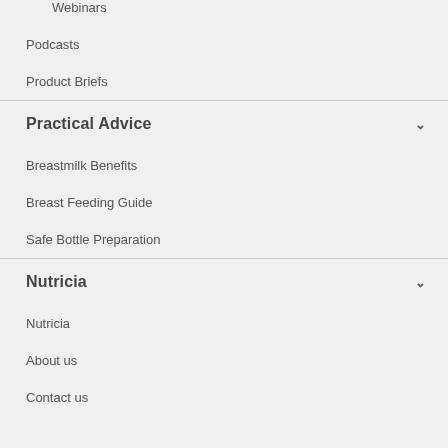Webinars
Podcasts
Product Briefs
Practical Advice
Breastmilk Benefits
Breast Feeding Guide
Safe Bottle Preparation
Nutricia
Nutricia
About us
Contact us